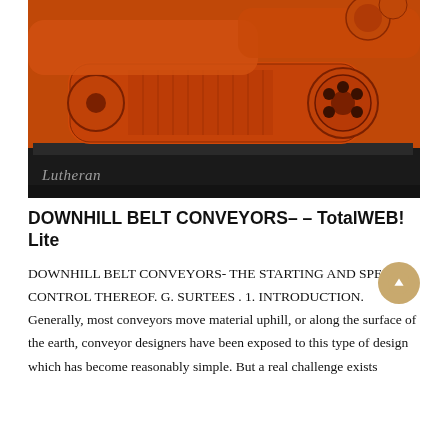[Figure (photo): Orange industrial belt conveyor machinery units sitting on a factory floor, multiple units visible. A watermark reading 'Lutheran' appears in the lower left of the image.]
DOWNHILL BELT CONVEYORS– – TotalWEB! Lite
DOWNHILL BELT CONVEYORS- THE STARTING AND SPEED CONTROL THEREOF. G. SURTEES . 1. INTRODUCTION. Generally, most conveyors move material uphill, or along the surface of the earth, conveyor designers have been exposed to this type of design which has become reasonably simple. But a real challenge exists